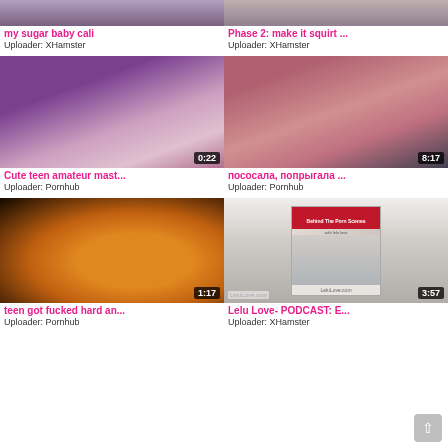[Figure (screenshot): Video thumbnail partial top row - left: my sugar baby cali]
my sugar baby cali
Uploader: XHamster
[Figure (screenshot): Video thumbnail partial top row - right: Phase 2: make it squirt ...]
Phase 2: make it squirt ...
Uploader: XHamster
[Figure (screenshot): Video thumbnail 0:22 - Cute teen amateur mast...]
Cute teen amateur mast...
Uploader: Pornhub
[Figure (screenshot): Video thumbnail 8:17 - пососала, попрыгала ...]
пососала, попрыгала ...
Uploader: Pornhub
[Figure (screenshot): Video thumbnail 1:17 - teen got fucked hard an...]
teen got fucked hard an...
Uploader: Pornhub
[Figure (screenshot): Video thumbnail 3:57 - Lelu Love- PODCAST: E... LeluLove.com]
Lelu Love- PODCAST: E...
Uploader: XHamster